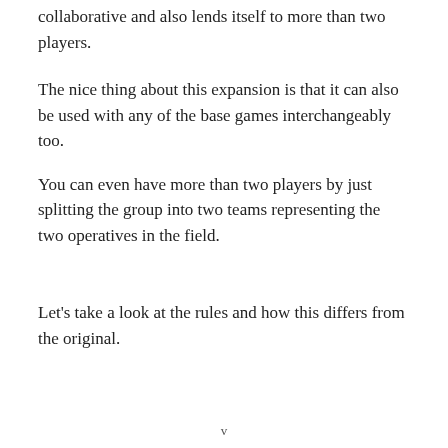collaborative and also lends itself to more than two players.
The nice thing about this expansion is that it can also be used with any of the base games interchangeably too.
You can even have more than two players by just splitting the group into two teams representing the two operatives in the field.
Let's take a look at the rules and how this differs from the original.
v